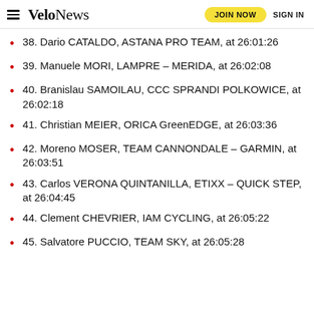VeloNews | JOIN NOW | SIGN IN
38. Dario CATALDO, ASTANA PRO TEAM, at 26:01:26
39. Manuele MORI, LAMPRE – MERIDA, at 26:02:08
40. Branislau SAMOILAU, CCC SPRANDI POLKOWICE, at 26:02:18
41. Christian MEIER, ORICA GreenEDGE, at 26:03:36
42. Moreno MOSER, TEAM CANNONDALE – GARMIN, at 26:03:51
43. Carlos VERONA QUINTANILLA, ETIXX – QUICK STEP, at 26:04:45
44. Clement CHEVRIER, IAM CYCLING, at 26:05:22
45. Salvatore PUCCIO, TEAM SKY, at 26:05:28